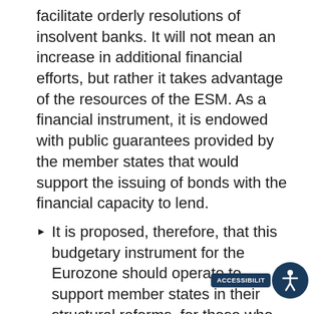facilitate orderly resolutions of insolvent banks. It will not mean an increase in additional financial efforts, but rather it takes advantage of the resources of the ESM. As a financial instrument, it is endowed with public guarantees provided by the member states that would support the issuing of bonds with the financial capacity to lend.
It is proposed, therefore, that this budgetary instrument for the Eurozone should operate to support member states in their structural reforms, for those who are in processes of access t… the Euro…